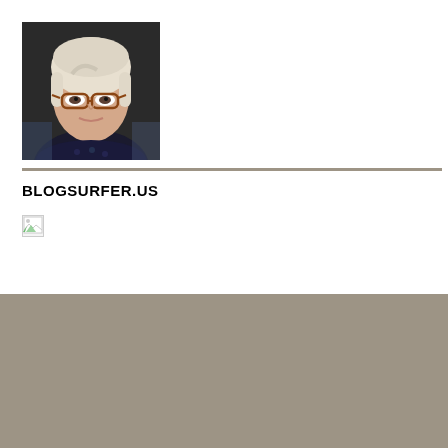[Figure (photo): Profile photo of an elderly woman with short white/blonde hair wearing glasses and a dark patterned top, seated indoors]
BLOGSURFER.US
[Figure (other): Broken/missing image placeholder icon]
Search ...
RECENT POSTS